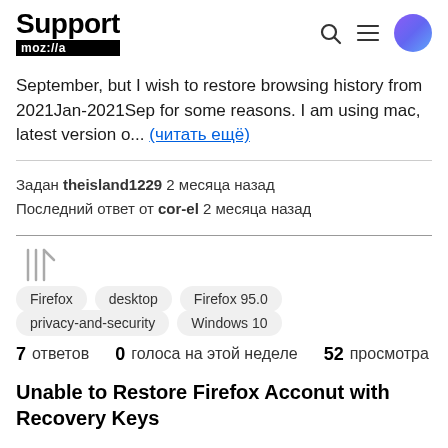Support mozilla//a
September, but I wish to restore browsing history from 2021Jan-2021Sep for some reasons. I am using mac, latest version o... (читать ещё)
Задан theisland1229 2 месяца назад
Последний ответ от cor-el 2 месяца назад
[Figure (illustration): Bookmark/library icon in gray]
Firefox
desktop
Firefox 95.0
privacy-and-security
Windows 10
7 ответов  0 голоса на этой неделе  52 просмотра
Unable to Restore Firefox Acconut with Recovery Keys